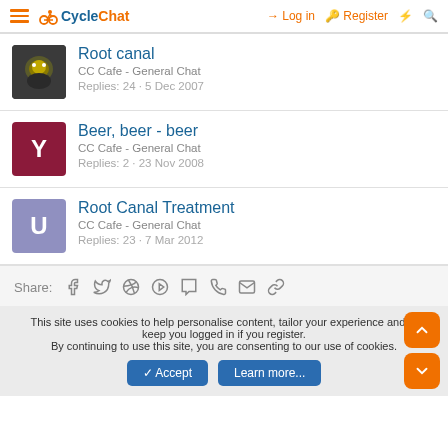CycleChat — Log in | Register
Root canal
CC Cafe - General Chat
Replies: 24 · 5 Dec 2007
Beer, beer - beer
CC Cafe - General Chat
Replies: 2 · 23 Nov 2008
Root Canal Treatment
CC Cafe - General Chat
Replies: 23 · 7 Mar 2012
Share:
This site uses cookies to help personalise content, tailor your experience and to keep you logged in if you register.
By continuing to use this site, you are consenting to our use of cookies.